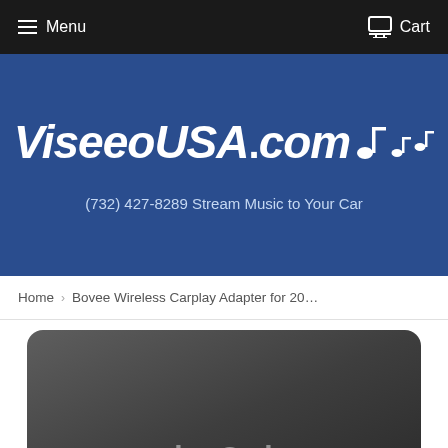Menu   Cart
[Figure (logo): ViseeoUSA.com logo with musical notes on dark blue banner background, with subtitle '(732) 427-8289 Stream Music to Your Car']
Home › Bovee Wireless Carplay Adapter for 20…
[Figure (photo): Close-up photo of a dark grey/black wireless CarPlay adapter device with partial text visible at the bottom]